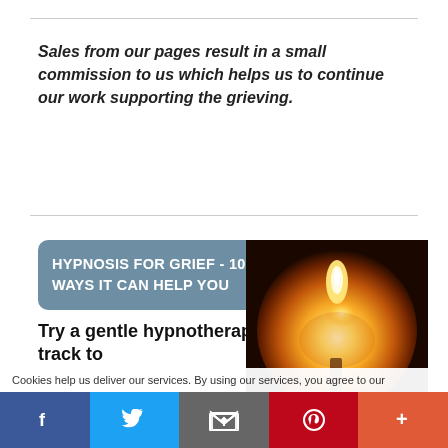Sales from our pages result in a small commission to us which helps us to continue our work supporting the grieving.
HYPNOSIS FOR GRIEF - 10 WAYS IT CAN HELP YOU
Try a gentle hypnotherapy track to
[Figure (photo): Dark atmospheric photo of a single candle flame glowing orange against a dark background]
Cookies help us deliver our services. By using our services, you agree to our
Facebook | Twitter | Email | Pinterest | More